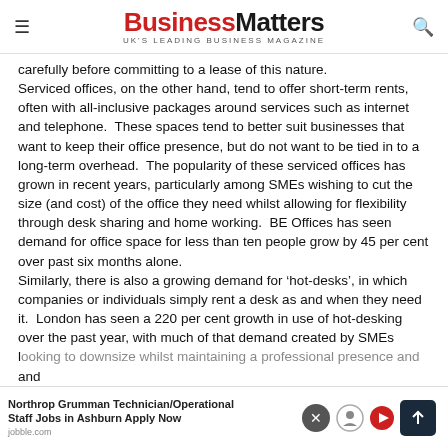BusinessMatters UK'S LEADING BUSINESS MAGAZINE
carefully before committing to a lease of this nature. Serviced offices, on the other hand, tend to offer short-term rents, often with all-inclusive packages around services such as internet and telephone.  These spaces tend to better suit businesses that want to keep their office presence, but do not want to be tied in to a long-term overhead.  The popularity of these serviced offices has grown in recent years, particularly among SMEs wishing to cut the size (and cost) of the office they need whilst allowing for flexibility through desk sharing and home working.  BE Offices has seen demand for office space for less than ten people grow by 45 per cent over past six months alone. Similarly, there is also a growing demand for ‘hot-desks’, in which companies or individuals simply rent a desk as and when they need it.  London has seen a 220 per cent growth in use of hot-desking over the past year, with much of that demand created by SMEs looking to downsize whilst maintaining a professional presence and then offering staff remote working and flexible services profess...
Northrop Grumman Technician/Operational Staff Jobs in Ashburn Apply Now jobble.com